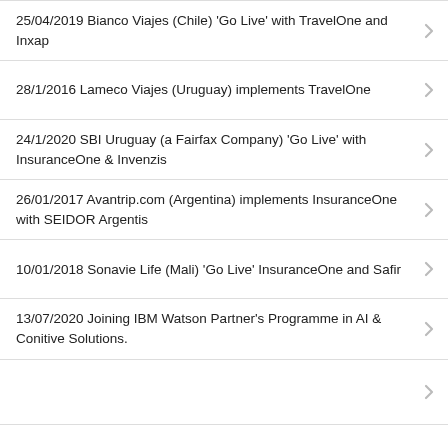25/04/2019 Bianco Viajes (Chile) 'Go Live' with TravelOne and Inxap
28/1/2016 Lameco Viajes (Uruguay) implements TravelOne
24/1/2020 SBI Uruguay (a Fairfax Company) 'Go Live' with InsuranceOne & Invenzis
26/01/2017 Avantrip.com (Argentina) implements InsuranceOne with SEIDOR Argentis
10/01/2018 Sonavie Life (Mali) 'Go Live' InsuranceOne and Safir
13/07/2020 Joining IBM Watson Partner's Programme in AI & Conitive Solutions.